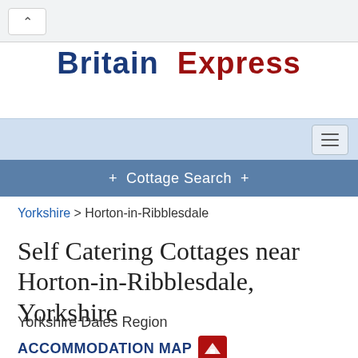[Figure (screenshot): Browser back button chrome area at top of page]
Britain Express
[Figure (screenshot): Navigation bar with hamburger menu button on light blue background]
[Figure (screenshot): Cottage Search navigation bar in steel blue]
Yorkshire > Horton-in-Ribblesdale
Self Catering Cottages near Horton-in-Ribblesdale, Yorkshire
Yorkshire Dales Region
ACCOMMODATION MAP